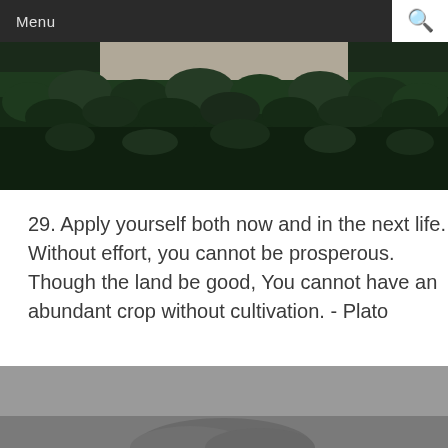Menu
[Figure (photo): Aerial or elevated view of a dense evergreen forest with dark green conifer trees. A lighter grey/beige rectangular area is visible near the top center of the image.]
29. Apply yourself both now and in the next life. Without effort, you cannot be prosperous. Though the land be good, You cannot have an abundant crop without cultivation. - Plato
[Figure (photo): Bottom portion of an image showing a grey/overcast sky with what appears to be a mountain or landscape element at the bottom edge.]